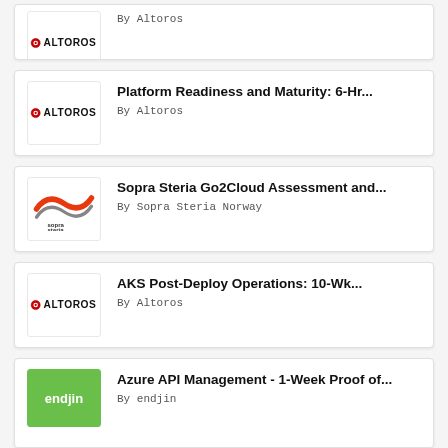[Figure (logo): Altoros logo - partial card at top]
By Altoros
[Figure (logo): Altoros logo]
Platform Readiness and Maturity: 6-Hr...
By Altoros
[Figure (logo): Sopra Steria logo]
Sopra Steria Go2Cloud Assessment and...
By Sopra Steria Norway
[Figure (logo): Altoros logo]
AKS Post-Deploy Operations: 10-Wk...
By Altoros
[Figure (logo): endjin logo - green background]
Azure API Management - 1-Week Proof of...
By endjin